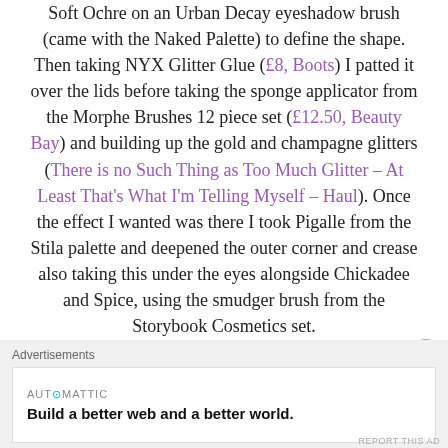Soft Ochre on an Urban Decay eyeshadow brush (came with the Naked Palette) to define the shape. Then taking NYX Glitter Glue (£8, Boots) I patted it over the lids before taking the sponge applicator from the Morphe Brushes 12 piece set (£12.50, Beauty Bay) and building up the gold and champagne glitters (There is no Such Thing as Too Much Glitter – At Least That's What I'm Telling Myself – Haul). Once the effect I wanted was there I took Pigalle from the Stila palette and deepened the outer corner and crease also taking this under the eyes alongside Chickadee and Spice, using the smudger brush from the Storybook Cosmetics set.
Advertisements
[Figure (other): Automattic advertisement banner reading 'Build a better web and a better world.']